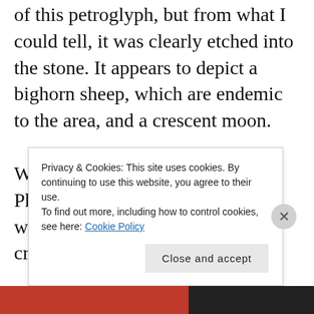of this petroglyph, but from what I could tell, it was clearly etched into the stone. It appears to depict a bighorn sheep, which are endemic to the area, and a crescent moon.
When I turned around to show Philip, the photo below illustrates what I saw: Philip carefully crouching at the mouth
Privacy & Cookies: This site uses cookies. By continuing to use this website, you agree to their use.
To find out more, including how to control cookies, see here: Cookie Policy